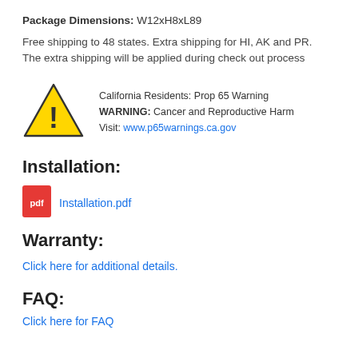Package Dimensions: W12xH8xL89
Free shipping to 48 states. Extra shipping for HI, AK and PR. The extra shipping will be applied during check out process
[Figure (illustration): Yellow triangle warning icon with exclamation mark (Prop 65 warning symbol)]
California Residents: Prop 65 Warning
WARNING: Cancer and Reproductive Harm
Visit: www.p65warnings.ca.gov
Installation:
[Figure (logo): Red PDF file icon]
Installation.pdf
Warranty:
Click here for additional details.
FAQ:
Click here for FAQ